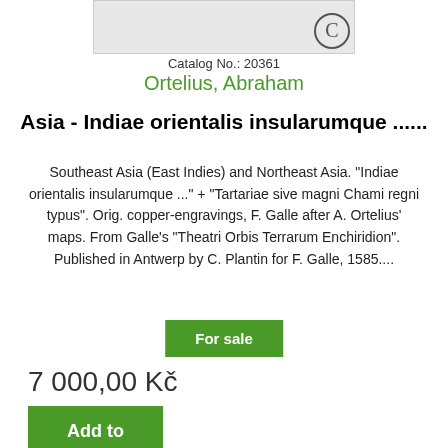[Figure (illustration): Partial view of a map or illustration, cropped at top, showing a small circular logo/seal in bottom right corner]
Catalog No.: 20361
Ortelius, Abraham
Asia - Indiae orientalis insularumque ......
Southeast Asia (East Indies) and Northeast Asia. "Indiae orientalis insularumque ..." + "Tartariae sive magni Chami regni typus". Orig. copper-engravings, F. Galle after A. Ortelius' maps. From Galle's "Theatri Orbis Terrarum Enchiridion". Published in Antwerp by C. Plantin for F. Galle, 1585....
For sale
7 000,00 Kč
Add to cart
More